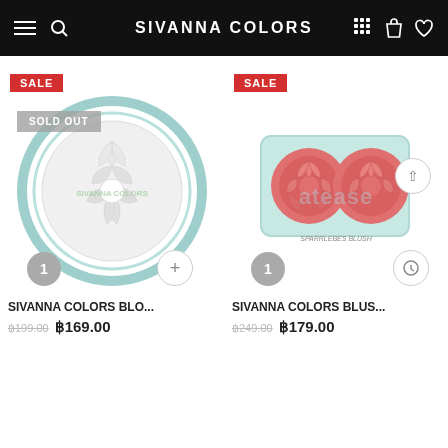SIVANNA COLORS
[Figure (photo): SIVANNA COLORS blush/powder compact - white rose design in mint green round compact - SOLD OUT]
SALE
SOLD OUT
SIVANNA COLORS BLO...
฿199.00  ฿169.00
[Figure (photo): SIVANNA COLORS blush palette - two coral/pink rose-embossed pans in mint green rectangular compact]
SALE
SIVANNA COLORS BLUS...
฿249.00  ฿179.00